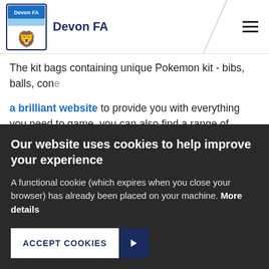Devon FA
The kit bags containing unique Pokemon kit - bibs, balls, cone... a brilliant website to provide you with everything you need to game, you can also find a range of coaching drills that will hel...
Learn more about the game, develop your skills, enter the cu...
Please note the competition is open to male and female club...
Our website uses cookies to help improve your experience
A functional cookie (which expires when you close your browser) has already been placed on your machine. More details